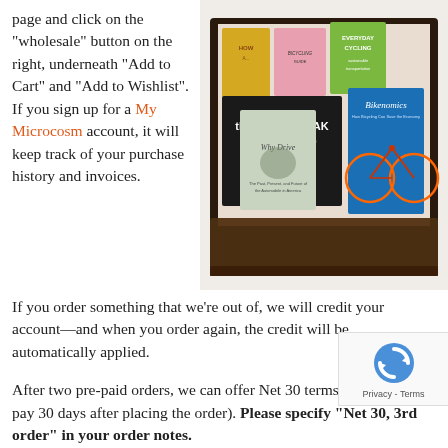page and click on the "wholesale" button on the right, underneath "Add to Cart" and "Add to Wishlist". If you sign up for a My Microcosm account, it will keep track of your purchase history and invoices.
[Figure (photo): A dark wooden tray/box containing multiple books displayed standing up. Visible titles include 'CHAINBREAK BIKE BOOK', 'Bikenomics', 'Why Drive', 'Everyday Cycling', and others with colorful covers.]
If you order something that we're out of, we will credit your account—and when you order again, the credit will be automatically applied.
After two pre-paid orders, we can offer Net 30 terms (in which you pay 30 days after placing the order). Please specify "Net 30, 3rd order" in your order notes.
Items are generally sold as non-returnable unless they damaged or arrangements have been made ahead of time.